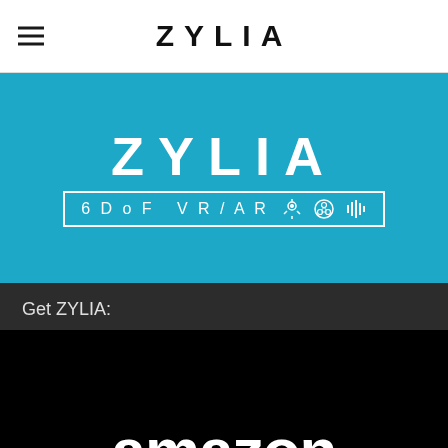ZYLIA
[Figure (logo): ZYLIA brand banner with cyan/teal background showing ZYLIA logo text and '6DoF VR/AR' with icons in a bordered box]
Get ZYLIA:
[Figure (logo): Amazon logo on black background showing the word 'amazon' in large white bold text]